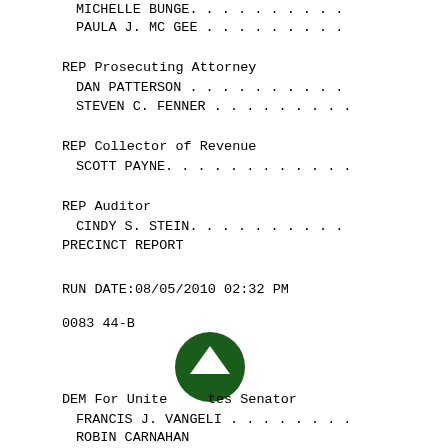MICHELLE BUNGE. . . . . . . . . .
PAULA J. MC GEE . . . . . . . . .
REP Prosecuting Attorney
DAN PATTERSON . . . . . . . . . .
STEVEN C. FENNER . . . . . . . . .
REP Collector of Revenue
SCOTT PAYNE. . . . . . . . . . . .
REP Auditor
CINDY S. STEIN. . . . . . . . . .
PRECINCT REPORT
RUN DATE:08/05/2010 02:32 PM
0083 44-B
DEM For United States Senator
FRANCIS J. VANGELI . . . . . . . .
ROBIN CARNAHAN